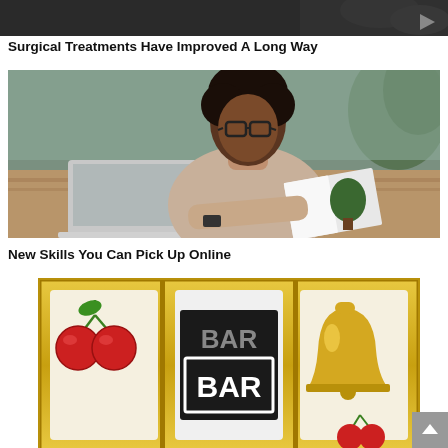[Figure (photo): Dark banner image at the top of the page, partially visible, showing what appears to be a medical or action scene.]
Surgical Treatments Have Improved A Long Way
[Figure (photo): Woman with glasses and natural hair sitting at a table working on a laptop while reading a book, in a cafe or home office setting.]
New Skills You Can Pick Up Online
[Figure (illustration): Slot machine reels showing cherries, a BAR symbol, and a gold bell on a gold background.]